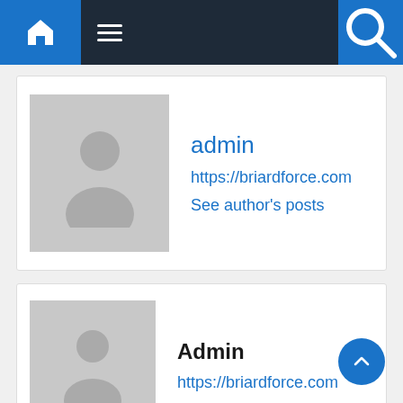[Figure (screenshot): Navigation bar with home icon, hamburger menu, and search icon on dark background]
admin
https://briardforce.com
See author's posts
Admin
https://briardforce.com
Related Articles